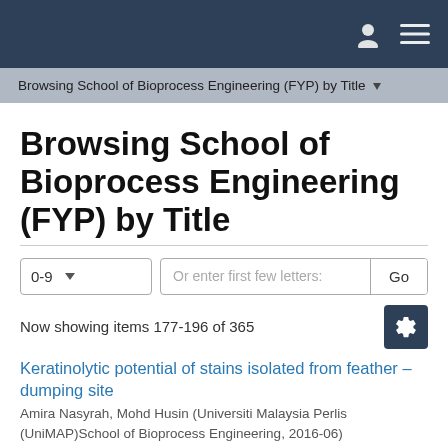Browsing School of Bioprocess Engineering (FYP) by Title
Browsing School of Bioprocess Engineering (FYP) by Title
Now showing items 177-196 of 365
Keratinolytic potential of stains isolated from feather – dumping site
Amira Nasyrah, Mohd Husin (Universiti Malaysia Perlis (UniMAP)School of Bioprocess Engineering, 2016-06)
Keratin is insoluble macromolecule, comprised of long polypeptide chains that are mainly found in hair, wool, nail, horns and feathers which its stability depends on the adjacent chains linked by disulphide bonds. Several ...